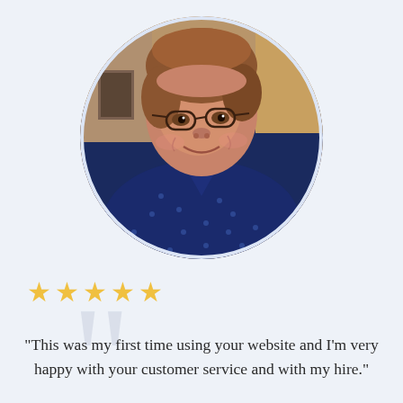[Figure (photo): Circular portrait photo of a middle-aged woman with short reddish-brown hair, wearing glasses and a navy blue polka-dot shirt, smiling warmly]
★★★★★
“This was my first time using your website and I’m very happy with your customer service and with my hire.”